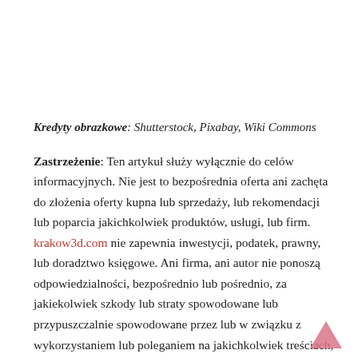Kredyty obrazkowe: Shutterstock, Pixabay, Wiki Commons
Zastrzeżenie: Ten artykuł służy wyłącznie do celów informacyjnych. Nie jest to bezpośrednia oferta ani zachęta do złożenia oferty kupna lub sprzedaży, lub rekomendacji lub poparcia jakichkolwiek produktów, usługi, lub firm. krakow3d.com nie zapewnia inwestycji, podatek, prawny, lub doradztwo księgowe. Ani firma, ani autor nie ponoszą odpowiedzialności, bezpośrednio lub pośrednio, za jakiekolwiek szkody lub straty spowodowane lub przypuszczalnie spowodowane przez lub w związku z wykorzystaniem lub poleganiem na jakichkolwiek treściach, towary lub usługi wymienione w tym artykule.